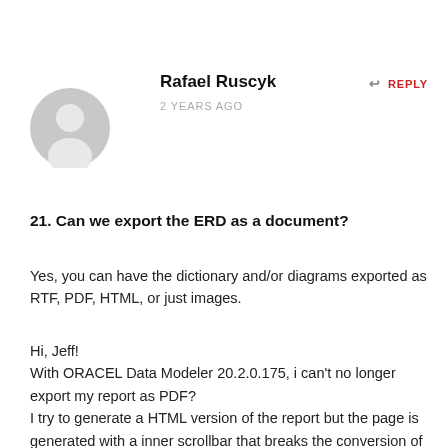Rafael Ruscyk
2 YEARS AGO
↩ REPLY
[Figure (illustration): Generic grey user avatar icon (circle with person silhouette)]
21. Can we export the ERD as a document?
Yes, you can have the dictionary and/or diagrams exported as RTF, PDF, HTML, or just images.
Hi, Jeff!
With ORACEL Data Modeler 20.2.0.175, i can't no longer export my report as PDF?
I try to generate a HTML version of the report but the page is generated with a inner scrollbar that breaks the conversion of HTML to PDF (i tried a lot of converters).